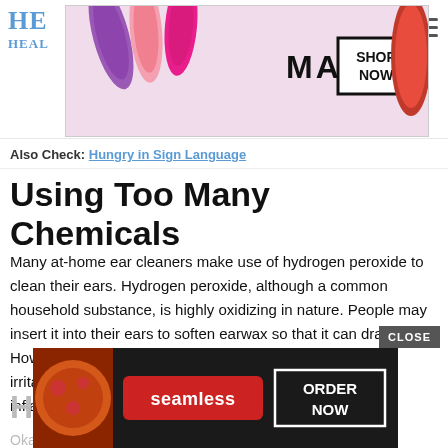[Figure (other): MAC cosmetics advertisement banner with lipsticks and SHOP NOW button]
HE HEAL
Also Check: Hungry in Sign Language
Using Too Many Chemicals
Many at-home ear cleaners make use of hydrogen peroxide to clean their ears. Hydrogen peroxide, although a common household substance, is highly oxidizing in nature. People may insert it into their ears to soften earwax so that it can drain out. However, excessive use of hydrogen peroxide can lead to irritation of the skin inside the ear, which may cause inflammation and earaches.
How Do I Safely Remove Earwax
Okay,
[Figure (other): Seamless food delivery advertisement with pizza image and ORDER NOW button]